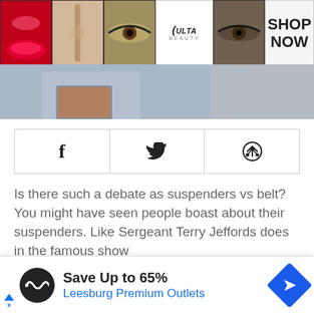[Figure (screenshot): Ulta Beauty banner advertisement showing makeup images (lips, brush, eye, Ulta logo, another eye) with SHOP NOW call to action]
[Figure (screenshot): Website hero/background image showing a person with brown belt]
[Figure (infographic): Social sharing bar with Facebook (f), Twitter bird, and Pinterest (P) icons in bordered cells]
Is there such a debate as suspenders vs belt? You might have seen people boast about their suspenders. Like Sergeant Terry Jeffords does in the famous show [and Brooklyn-99. Many people claim that
[Figure (screenshot): Bottom advertisement: Save Up to 65% - Leesburg Premium Outlets with logo and navigation arrow icon]